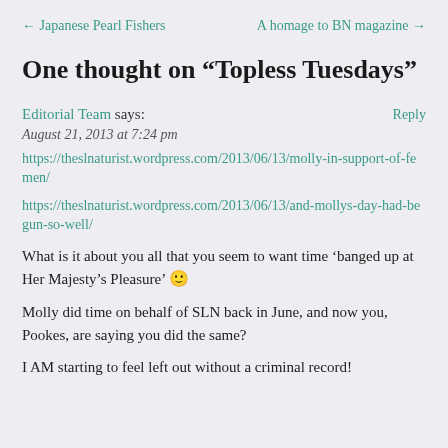← Japanese Pearl Fishers    A homage to BN magazine →
One thought on “Topless Tuesdays”
Editorial Team says:    Reply
August 21, 2013 at 7:24 pm
https://theslnaturist.wordpress.com/2013/06/13/molly-in-support-of-femen/

https://theslnaturist.wordpress.com/2013/06/13/and-mollys-day-had-begun-so-well/

What is it about you all that you seem to want time ‘banged up at Her Majesty’s Pleasure’ 🙂

Molly did time on behalf of SLN back in June, and now you, Pookes, are saying you did the same?

I AM starting to feel left out without a criminal record!